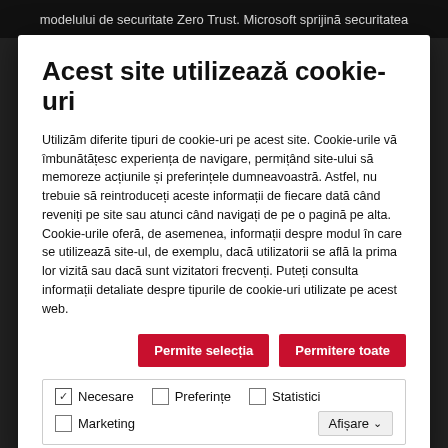modelului de securitate Zero Trust. Microsoft sprijină securitatea
Acest site utilizează cookie-uri
Utilizăm diferite tipuri de cookie-uri pe acest site. Cookie-urile vă îmbunătățesc experiența de navigare, permițând site-ului să memoreze acțiunile și preferințele dumneavoastră. Astfel, nu trebuie să reintroduceți aceste informații de fiecare dată când reveniți pe site sau atunci când navigați de pe o pagină pe alta. Cookie-urile oferă, de asemenea, informații despre modul în care se utilizează site-ul, de exemplu, dacă utilizatorii se află la prima lor vizită sau dacă sunt vizitatori frecvenți. Puteți consulta informații detaliate despre tipurile de cookie-uri utilizate pe acest web.
Permite selecția
Permitere toate
✓ Necesare  □ Preferințe  □ Statistici  □ Marketing  Afișare ▾
[Figure (photo): Dark blue network/tech background with geometric lines and nodes connecting dots, suggesting a cybersecurity or digital network theme.]